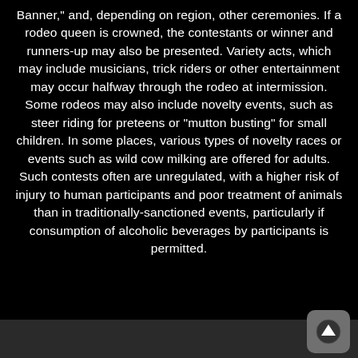Banner," and, depending on region, other ceremonies. If a rodeo queen is crowned, the contestants or winner and runners-up may also be presented. Variety acts, which may include musicians, trick riders or other entertainment may occur halfway through the rodeo at intermission. Some rodeos may also include novelty events, such as steer riding for preteens or "mutton busting" for small children. In some places, various types of novelty races or events such as wild cow milking are offered for adults. Such contests often are unregulated, with a higher risk of injury to human participants and poor treatment of animals than in traditionally-sanctioned events, particularly if consumption of alcoholic beverages by participants is permitted.